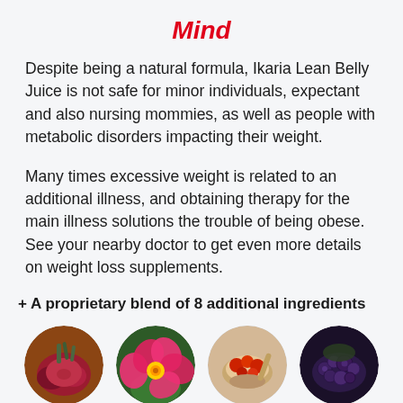Mind
Despite being a natural formula, Ikaria Lean Belly Juice is not safe for minor individuals, expectant and also nursing mommies, as well as people with metabolic disorders impacting their weight.
Many times excessive weight is related to an additional illness, and obtaining therapy for the main illness solutions the trouble of being obese. See your nearby doctor to get even more details on weight loss supplements.
+ A proprietary blend of 8 additional ingredients
[Figure (photo): Four circular photos of food ingredients: beet root vegetables, hibiscus flower, fruits/berries in a spoon/bowl, and dark berries]